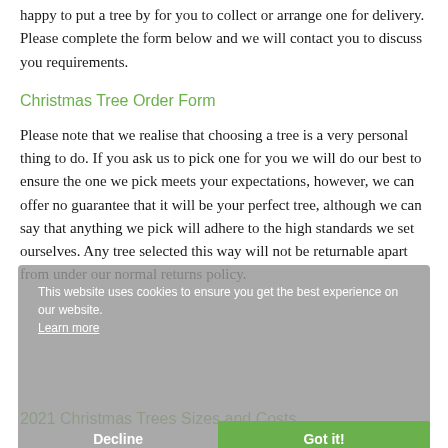happy to put a tree by for you to collect or arrange one for delivery. Please complete the form below and we will contact you to discuss you requirements.
Christmas Tree Order Form
Please note that we realise that choosing a tree is a very personal thing to do. If you ask us to pick one for you we will do our best to ensure the one we pick meets your expectations, however, we can offer no guarantee that it will be your perfect tree, although we can say that anything we pick will adhere to the high standards we set ourselves. Any tree selected this way will not be returnable apart from under our normal returns policy.
This website uses cookies to ensure you get the best experience on our website. Learn more
2021 Christmas Trees Sizes and Costs